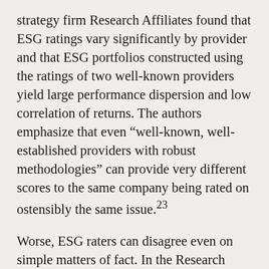strategy firm Research Affiliates found that ESG ratings vary significantly by provider and that ESG portfolios constructed using the ratings of two well-known providers yield large performance dispersion and low correlation of returns. The authors emphasize that even “well-known, well-established providers with robust methodologies” can provide very different scores to the same company being rated on ostensibly the same issue.²³
Worse, ESG raters can disagree even on simple matters of fact. In the Research Affiliates study, whether a company is a member of the U.N. Global Compact has a correlation of 0.86 and whether the person holding the title of CEO is also the chairman of the board has a correlation of only 0.56. If two different rating firms can